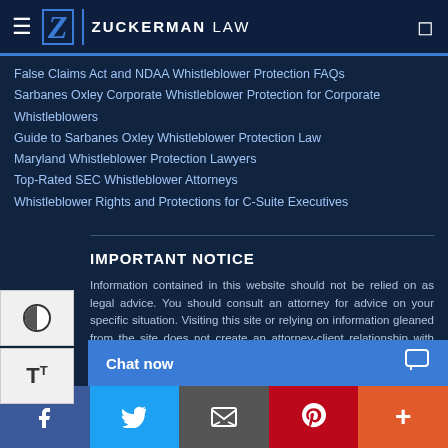Zuckerman Law
False Claims Act and NDAA Whistleblower Protection FAQs
Sarbanes Oxley Corporate Whistleblower Protection for Corporate Whistleblowers
Guide to Sarbanes Oxley Whistleblower Protection Law
Maryland Whistleblower Protection Lawyers
Top-Rated SEC Whistleblower Attorneys
Whistleblower Rights and Protections for C-Suite Executives
IMPORTANT NOTICE
Information contained in this website should not be relied on as legal advice. You should consult an attorney for advice on your specific situation. Visiting this site or relying on information gleaned from the site does not create an attorney-client relationship with Zuckerman Law. Contacting Zuckerman Law or providing information to Zuckerman Law about a potential legal claim does not cre...